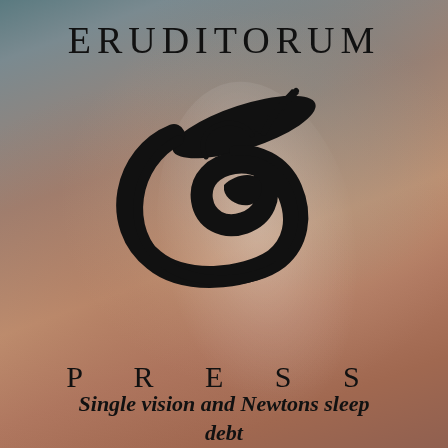ERUDITORUM
[Figure (logo): Eruditorum Press logo: a stylized cursive 'EP' monogram in black, with sweeping calligraphic curves forming an elliptical shape with a pen nib or arrow element]
PRESS
Single vision and Newtons sleep debt